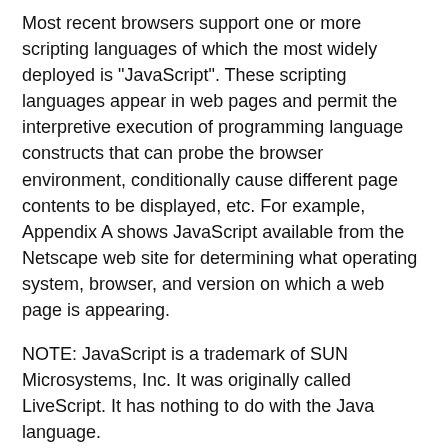Most recent browsers support one or more scripting languages of which the most widely deployed is "JavaScript". These scripting languages appear in web pages and permit the interpretive execution of programming language constructs that can probe the browser environment, conditionally cause different page contents to be displayed, etc. For example, Appendix A shows JavaScript available from the Netscape web site for determining what operating system, browser, and version on which a web page is appearing.
NOTE: JavaScript is a trademark of SUN Microsystems, Inc. It was originally called LiveScript. It has nothing to do with the Java language.
The syntax for script use appears to be a Hyper Text Markup Language (HTML) comment so that browsers that do not support scripting will ignore such items. That is, script use is preceded by "<!--" and terminated by "-->". The following is a simple example of conditional execution of